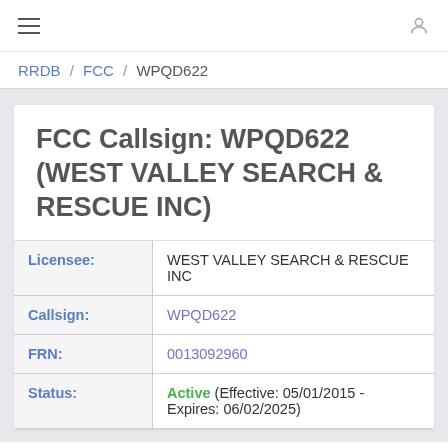≡  (user icon)
RRDB / FCC / WPQD622
FCC Callsign: WPQD622 (WEST VALLEY SEARCH & RESCUE INC)
| Field | Value |
| --- | --- |
| Licensee: | WEST VALLEY SEARCH & RESCUE INC |
| Callsign: | WPQD622 |
| FRN: | 0013092960 |
| Status: | Active (Effective: 05/01/2015 - Expires: 06/02/2025) |